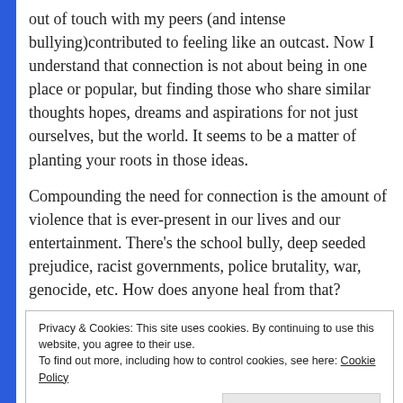out of touch with my peers (and intense bullying) contributed to feeling like an outcast. Now I understand that connection is not about being in one place or popular, but finding those who share similar thoughts hopes, dreams and aspirations for not just ourselves, but the world. It seems to be a matter of planting your roots in those ideas.
Compounding the need for connection is the amount of violence that is ever-present in our lives and our entertainment. There's the school bully, deep seeded prejudice, racist governments, police brutality, war, genocide, etc. How does anyone heal from that?
Privacy & Cookies: This site uses cookies. By continuing to use this website, you agree to their use.
To find out more, including how to control cookies, see here: Cookie Policy
Close and accept
Have you ever